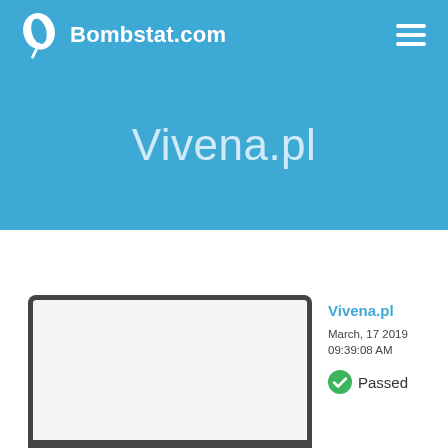Bombstat.com
Vivena.pl
[Figure (screenshot): Laptop mockup showing a website preview for Vivena.pl]
Vivena.pl
March, 17 2019 09:39:08 AM
Passed